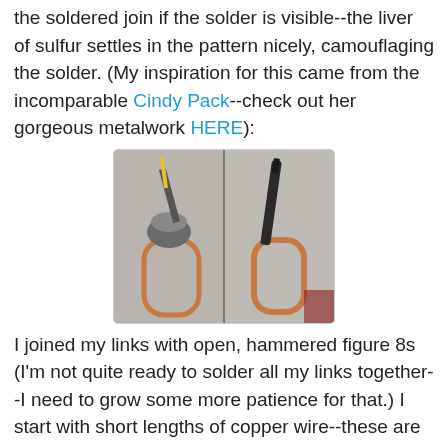the soldered join if the solder is visible--the liver of sulfur settles in the pattern nicely, camouflaging the solder. (My inspiration for this came from the incomparable Cindy Pack--check out her gorgeous metalwork HERE):
[Figure (photo): Two side-by-side photos showing copper wire figure-8 links on a concrete surface. Left photo shows a soldering iron being applied to a copper paper-clip shaped link. Right photo shows the same type of copper link being worked on with a tool.]
I joined my links with open, hammered figure 8s (I'm not quite ready to solder all my links together--I need to grow some more patience for that.) I start with short lengths of copper wire--these are 15mm lengths of 18 gauge wire, hammered flat: